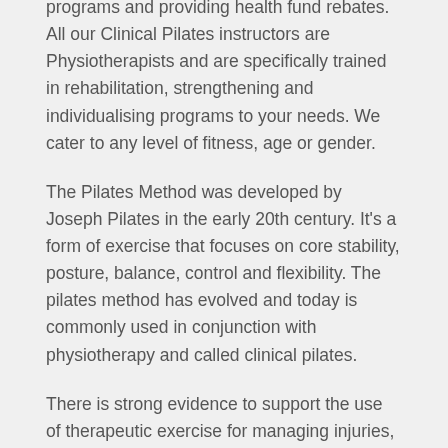programs and providing health fund rebates. All our Clinical Pilates instructors are Physiotherapists and are specifically trained in rehabilitation, strengthening and individualising programs to your needs. We cater to any level of fitness, age or gender.
The Pilates Method was developed by Joseph Pilates in the early 20th century. It's a form of exercise that focuses on core stability, posture, balance, control and flexibility. The pilates method has evolved and today is commonly used in conjunction with physiotherapy and called clinical pilates.
There is strong evidence to support the use of therapeutic exercise for managing injuries, particularly low back pain. Recent research also advocates the re training of the deep abdominal and lower back stabilising muscles for people with low back pain.